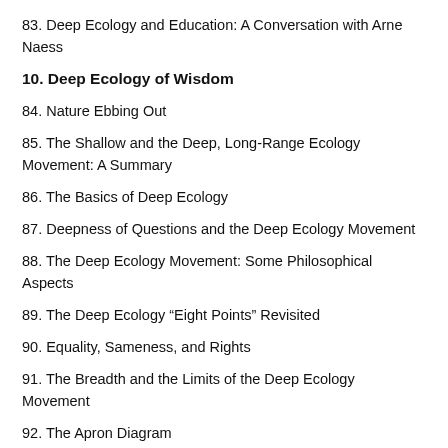83. Deep Ecology and Education: A Conversation with Arne Naess
10. Deep Ecology of Wisdom
84. Nature Ebbing Out
85. The Shallow and the Deep, Long-Range Ecology Movement: A Summary
86. The Basics of Deep Ecology
87. Deepness of Questions and the Deep Ecology Movement
88. The Deep Ecology Movement: Some Philosophical Aspects
89. The Deep Ecology “Eight Points” Revisited
90. Equality, Sameness, and Rights
91. The Breadth and the Limits of the Deep Ecology Movement
92. The Apron Diagram
93. What Do We as Supporters of the Deep Ecology Movement Stand for and Believe In?